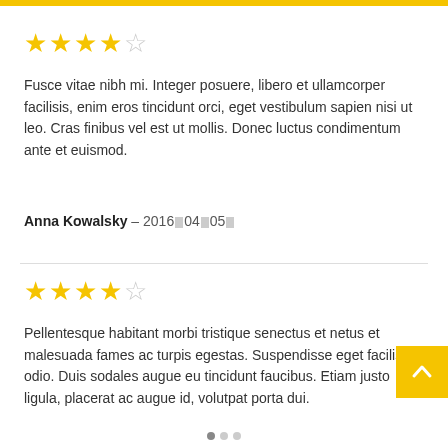[Figure (other): Yellow top bar]
[Figure (other): 4 out of 5 stars rating]
Fusce vitae nibh mi. Integer posuere, libero et ullamcorper facilisis, enim eros tincidunt orci, eget vestibulum sapien nisi ut leo. Cras finibus vel est ut mollis. Donec luctus condimentum ante et euismod.
Anna Kowalsky – 2016▒04▒05▒
[Figure (other): 4 out of 5 stars rating]
Pellentesque habitant morbi tristique senectus et netus et malesuada fames ac turpis egestas. Suspendisse eget facilisis odio. Duis sodales augue eu tincidunt faucibus. Etiam justo ligula, placerat ac augue id, volutpat porta dui.